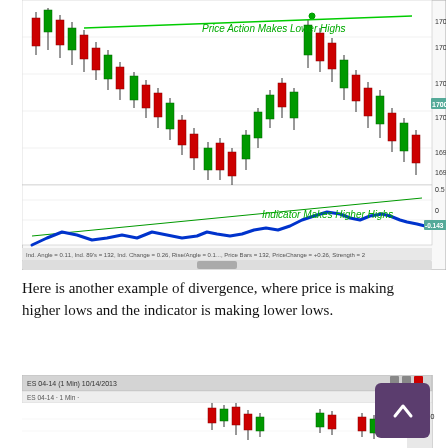[Figure (continuous-plot): Candlestick chart (price action) with an indicator panel below. The price panel shows a series of red and green candlesticks with a green diagonal line labeled 'Price Action Makes Lower Highs' drawn across the highs. Price axis on the right shows values approximately 1698–1702. The indicator panel below shows a bold blue curve labeled 'Indicator Makes Higher Highs' with a thin green diagonal trendline. A copyright watermark reads '© 2013 NinjaTrader, LLC'. X-axis time labels run from 12:40 to 14:20.]
Here is another example of divergence, where price is making higher lows and the indicator is making lower lows.
[Figure (continuous-plot): Partial candlestick chart screenshot (ES mini, 1 Min, 10/14/2013) showing the top portion of a second trading chart with candlesticks and a price axis showing approximately 1726.00 on the right. A scroll-to-top purple button with an upward chevron is visible in the lower-right corner.]